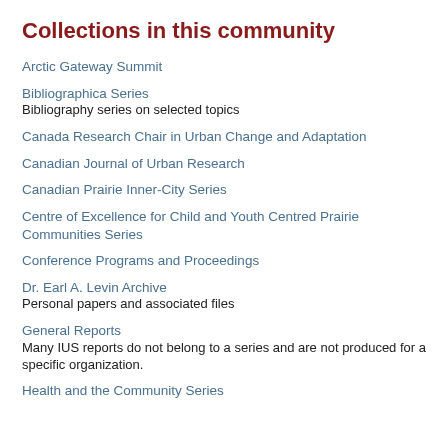Collections in this community
Arctic Gateway Summit
Bibliographica Series
Bibliography series on selected topics
Canada Research Chair in Urban Change and Adaptation
Canadian Journal of Urban Research
Canadian Prairie Inner-City Series
Centre of Excellence for Child and Youth Centred Prairie Communities Series
Conference Programs and Proceedings
Dr. Earl A. Levin Archive
Personal papers and associated files
General Reports
Many IUS reports do not belong to a series and are not produced for a specific organization.
Health and the Community Series